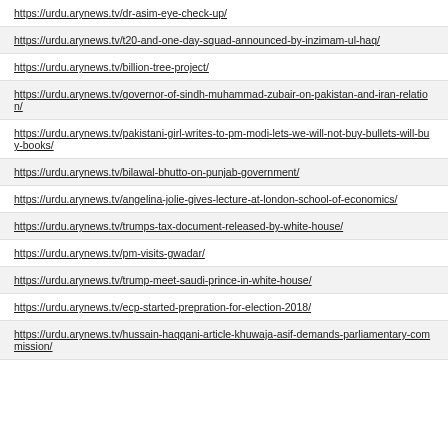https://urdu.arynews.tv/dr-asim-eye-check-up/
https://urdu.arynews.tv/t20-and-one-day-squad-announced-by-inzimam-ul-haq/
https://urdu.arynews.tv/billion-tree-project/
https://urdu.arynews.tv/governor-of-sindh-muhammad-zubair-on-pakistan-and-iran-relation/
https://urdu.arynews.tv/pakistani-girl-writes-to-pm-modi-lets-we-will-not-buy-bullets-will-buy-books/
https://urdu.arynews.tv/bilawal-bhutto-on-punjab-government/
https://urdu.arynews.tv/angelina-jolie-gives-lecture-at-london-school-of-economics/
https://urdu.arynews.tv/trumps-tax-document-released-by-white-house/
https://urdu.arynews.tv/pm-visits-gwadar/
https://urdu.arynews.tv/trump-meet-saudi-prince-in-white-house/
https://urdu.arynews.tv/ecp-started-prepration-for-election-2018/
https://urdu.arynews.tv/hussain-haqqani-article-khuwaja-asif-demands-parliamentary-commission/